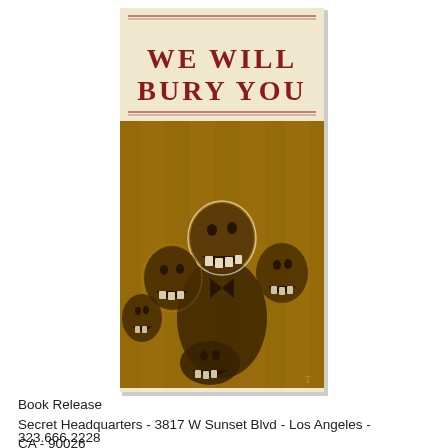[Figure (illustration): Book cover for 'We Will Bury You' featuring zombie horror artwork. The upper portion has a cream/beige background with the title 'WE WILL BURY YOU' in red distressed lettering with a decorative red border. The lower portion shows a dark golden-toned illustration of several grotesque zombie figures with decayed faces and teeth bared, wearing formal attire, grouped together in a menacing pose.]
Book Release
Secret Headquarters - 3817 W Sunset Blvd - Los Angeles - CA - 90026
323.666.2228